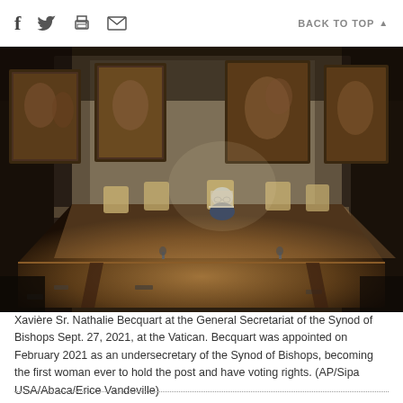f [twitter] [print] [email]   BACK TO TOP ▲
[Figure (photo): A woman (Xavière Sr. Nathalie Becquart) sits alone at a long wooden conference table in an ornate room at the Vatican, with classical paintings hanging on the walls. The room is dimly lit, with chairs arranged along both sides of the table.]
Xavière Sr. Nathalie Becquart at the General Secretariat of the Synod of Bishops Sept. 27, 2021, at the Vatican. Becquart was appointed on February 2021 as an undersecretary of the Synod of Bishops, becoming the first woman ever to hold the post and have voting rights. (AP/Sipa USA/Abaca/Erice Vandeville)